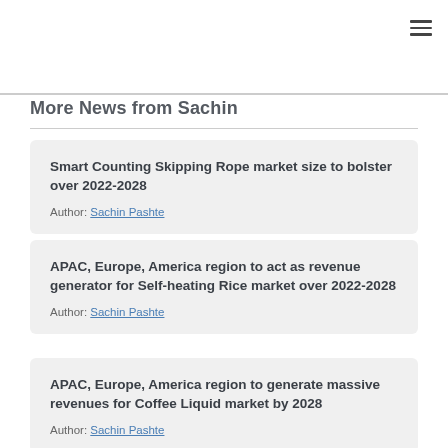≡
More News from Sachin
Smart Counting Skipping Rope market size to bolster over 2022-2028
Author: Sachin Pashte
APAC, Europe, America region to act as revenue generator for Self-heating Rice market over 2022-2028
Author: Sachin Pashte
APAC, Europe, America region to generate massive revenues for Coffee Liquid market by 2028
Author: Sachin Pashte